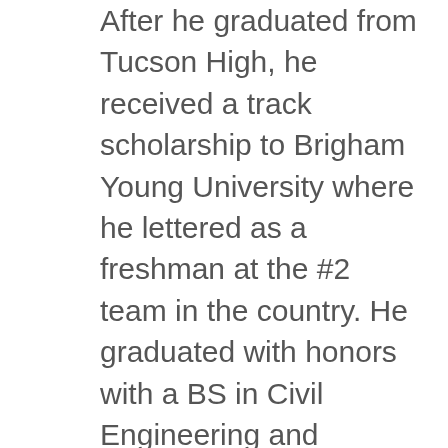After he graduated from Tucson High, he received a track scholarship to Brigham Young University where he lettered as a freshman at the #2 team in the country. He graduated with honors with a BS in Civil Engineering and master’s degree in Structural Engineering (1972). He speaks fluent Spanish, having served an LDS mission in Mexico.
Fred has been involved as Chief Forensic Engineer for FEMA at the Oso, Washington mudslide and was a Structural Specialist at the Oklahoma City disaster, the World Trade Center, Atlanta Olympics, Hurricanes Rita and